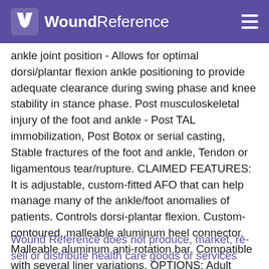WoundReference
ankle joint position - Allows for optimal dorsi/plantar flexion ankle positioning to provide adequate clearance during swing phase and knee stability in stance phase. Post musculoskeletal injury of the foot and ankle - Post TAL immobilization, Post Botox or serial casting, Stable fractures of the foot and ankle, Tendon or ligamentous tear/rupture. CLAIMED FEATURES: It is adjustable, custom-fitted AFO that can help manage many of the ankle/foot anomalies of patients. Controls dorsi-plantar flexion. Custom-contoured, malleable aluminum heel connector. Malleable aluminum anti-rotation bar. Compatible with several liner variations. OPTIONS: Adult Heavy Duty Kodel Teal Liner. Foot Length - 6.75"-12", Calf Height - 12"-13", Calf Cir. - 20", Calf Width - 4", Foot Plate Width - 3.75", Weight - 250-300lbs
Wound Reference does not produce, market, re-sell or distribute health care goods or services consumed by, or used on, patients.